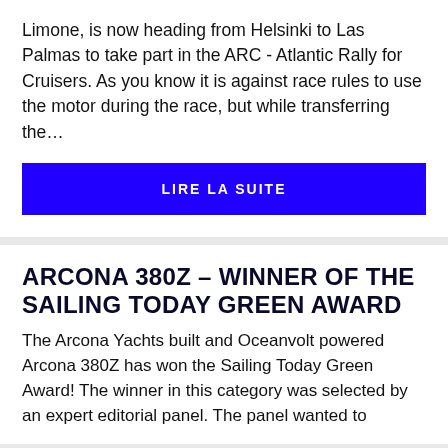Limone, is now heading from Helsinki to Las Palmas to take part in the ARC - Atlantic Rally for Cruisers. As you know it is against race rules to use the motor during the race, but while transferring the…
LIRE LA SUITE
ARCONA 380Z – WINNER OF THE SAILING TODAY GREEN AWARD
The Arcona Yachts built and Oceanvolt powered Arcona 380Z has won the Sailing Today Green Award! The winner in this category was selected by an expert editorial panel. The panel wanted to